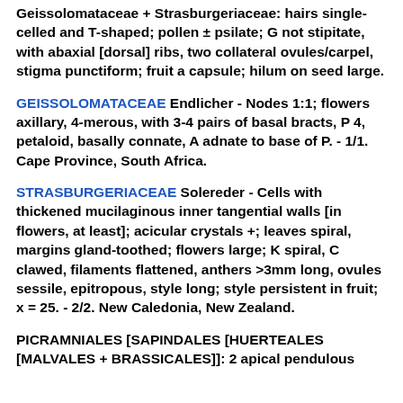Geissolomataceae + Strasburgeriaceae: hairs single-celled and T-shaped; pollen ± psilate; G not stipitate, with abaxial [dorsal] ribs, two collateral ovules/carpel, stigma punctiform; fruit a capsule; hilum on seed large.
GEISSOLOMATACEAE Endlicher - Nodes 1:1; flowers axillary, 4-merous, with 3-4 pairs of basal bracts, P 4, petaloid, basally connate, A adnate to base of P. - 1/1. Cape Province, South Africa.
STRASBURGERIACEAE Solereder - Cells with thickened mucilaginous inner tangential walls [in flowers, at least]; acicular crystals +; leaves spiral, margins gland-toothed; flowers large; K spiral, C clawed, filaments flattened, anthers >3mm long, ovules sessile, epitropous, style long; style persistent in fruit; x = 25. - 2/2. New Caledonia, New Zealand.
PICRAMNIALES [SAPINDALES [HUERTEALES [MALVALES + BRASSICALES]]: 2 apical pendulous